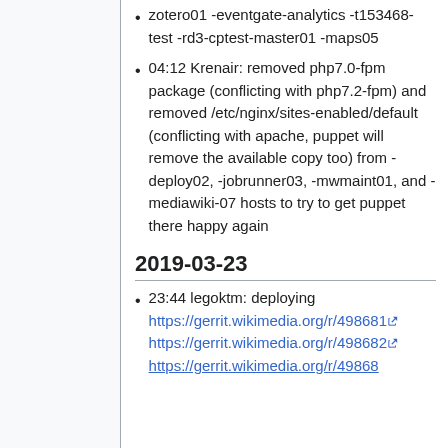zotero01 -eventgate-analytics -t153468-test -rd3-cptest-master01 -maps05
04:12 Krenair: removed php7.0-fpm package (conflicting with php7.2-fpm) and removed /etc/nginx/sites-enabled/default (conflicting with apache, puppet will remove the available copy too) from -deploy02, -jobrunner03, -mwmaint01, and -mediawiki-07 hosts to try to get puppet there happy again
2019-03-23
23:44 legoktm: deploying https://gerrit.wikimedia.org/r/498681 https://gerrit.wikimedia.org/r/498682 https://gerrit.wikimedia.org/r/49868...